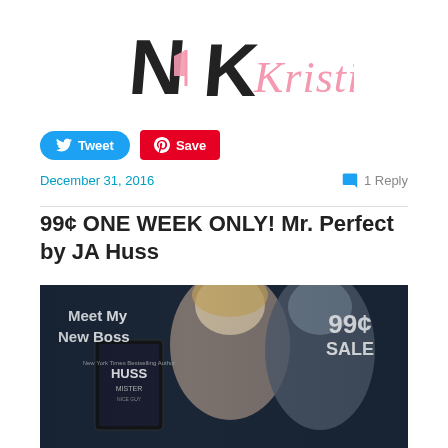[Figure (logo): NK Kristi blog logo with stylized NK letters in black and pink script 'Kristi' text]
[Figure (screenshot): Tweet button (blue rounded) and Save button (red Pinterest)]
December 31, 2016
1 Reply
99¢ ONE WEEK ONLY! Mr. Perfect by JA Huss
[Figure (photo): Book promotional image showing a blonde woman and dark-haired man close together, with text 'Meet My New Boss', '99¢ SALE', a tablet showing HUSS MISTER book cover]